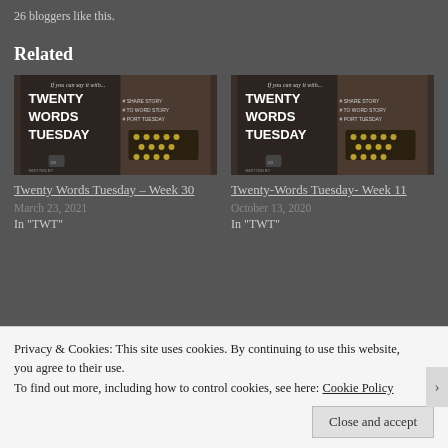26 bloggers like this.
Related
[Figure (photo): Twenty Words Tuesday blog post thumbnail showing a typewriter image with text 'TWENTY WORDS TUESDAY']
Twenty Words Tuesday – Week 30
March 23, 2021
In "TWT"
[Figure (photo): Twenty Words Tuesday blog post thumbnail showing a typewriter image with text 'TWENTY WORDS TUESDAY']
Twenty-Words Tuesday- Week 11
October 13, 2020
In "TWT"
Privacy & Cookies: This site uses cookies. By continuing to use this website, you agree to their use.
To find out more, including how to control cookies, see here: Cookie Policy
Close and accept